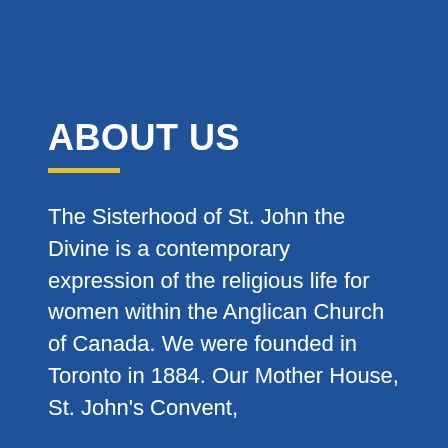ABOUT US
The Sisterhood of St. John the Divine is a contemporary expression of the religious life for women within the Anglican Church of Canada. We were founded in Toronto in 1884. Our Mother House, St. John's Convent,